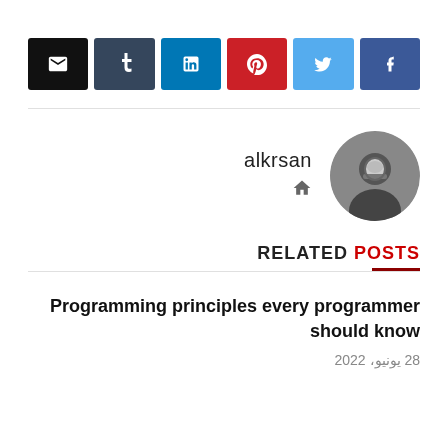[Figure (infographic): Social media sharing buttons row: email (black), tumblr (dark blue), linkedin (blue), pinterest (red), twitter (light blue), facebook (blue)]
[Figure (photo): Author avatar: circular black and white photo of a man with a beard]
alkrsan
RELATED POSTS
Programming principles every programmer should know
28 يونيو، 2022